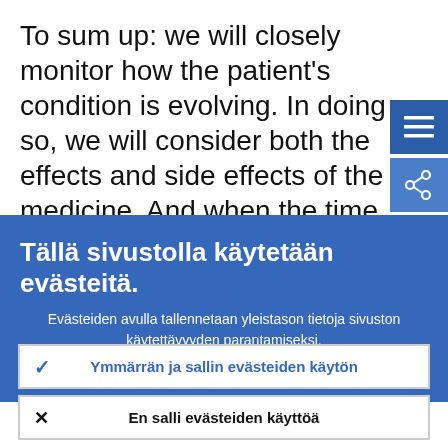To sum up: we will closely monitor how the patient's condition is evolving. In doing so, we will consider both the effects and side effects of the medicine. And when the time comes, we have to find the courage to withdraw the medicine. Hesitating for too
[Figure (screenshot): Blue menu hamburger icon button in top right corner]
[Figure (screenshot): Blue share icon button in top right corner below menu]
Tällä sivustolla käytetään evästeitä.
Evästeiden avulla tallennetaan yleistason tietoja sivuston käytettävyyden parantamiseksi.
› Lisätietoja evästeiden käytöstä
✓ Ymmärrän ja sallin evästeiden käytön
✕ En salli evästeiden käyttöä